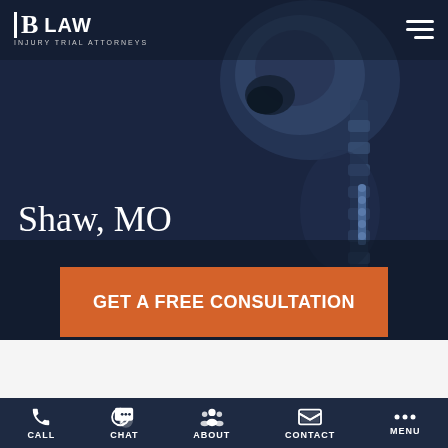[Figure (screenshot): Law firm website hero section with dark blue overlay on medical X-ray background image showing skull and spine]
B LAW INJURY TRIAL ATTORNEYS
Shaw, MO
GET A FREE CONSULTATION
Or call (314) 500-HURT
CALL  CHAT  ABOUT  CONTACT  MENU